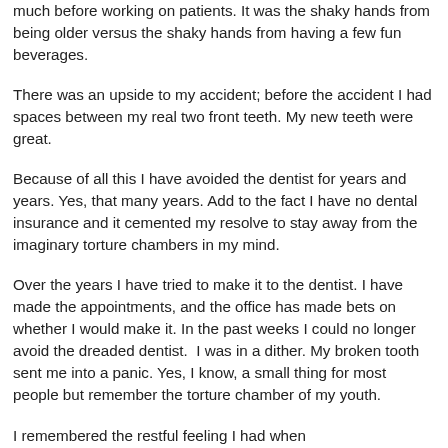much before working on patients. It was the shaky hands from being older versus the shaky hands from having a few fun beverages.
There was an upside to my accident; before the accident I had spaces between my real two front teeth. My new teeth were great.
Because of all this I have avoided the dentist for years and years. Yes, that many years. Add to the fact I have no dental insurance and it cemented my resolve to stay away from the imaginary torture chambers in my mind.
Over the years I have tried to make it to the dentist. I have made the appointments, and the office has made bets on whether I would make it. In the past weeks I could no longer avoid the dreaded dentist.  I was in a dither. My broken tooth sent me into a panic. Yes, I know, a small thing for most people but remember the torture chamber of my youth.
I remembered the restful feeling I had when